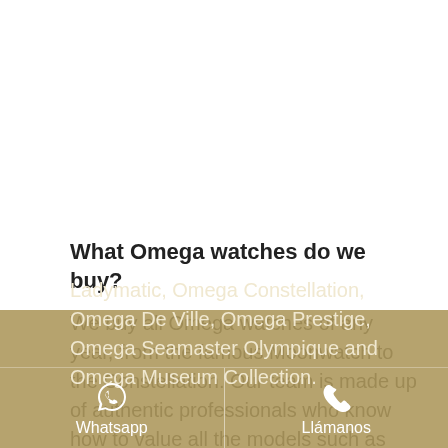What Omega watches do we buy?
We buy all Omega watches of any year, from the famous Moonwatch to the Constellation. Our team is made up of authentic professionals who know how to value all the models such as Omega Speedmaster, Omega Seamaster, Omega Ladymatic, Omega Constellation, Omega De Ville, Omega Prestige, Omega Seamaster Olympique and Omega Museum Collection.